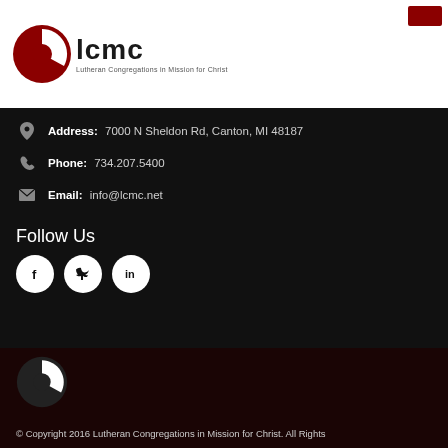[Figure (logo): LCMC logo — red pie-chart circle icon beside bold 'lcmc' text with subtitle 'Lutheran Congregations in Mission for Christ']
Address: 7000 N Sheldon Rd, Canton, MI 48187
Phone: 734.207.5400
Email: info@lcmc.net
Follow Us
[Figure (infographic): Three white circular social media buttons: Facebook (f), Twitter (bird), LinkedIn (in)]
[Figure (logo): LCMC icon logo (white pie-chart circle) on dark red footer background]
© Copyright 2016 Lutheran Congregations in Mission for Christ. All Rights